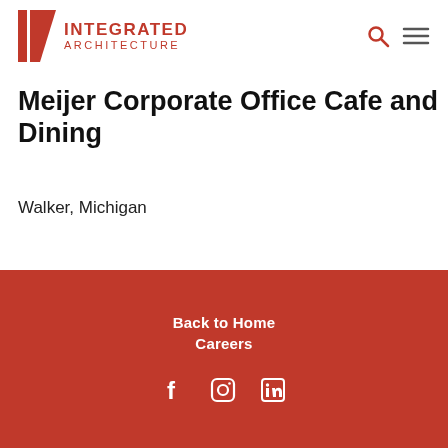Integrated Architecture
Meijer Corporate Office Cafe and Dining
Walker, Michigan
Back to Home
Careers